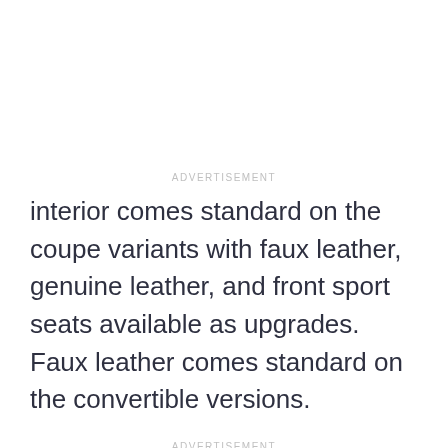ADVERTISEMENT
interior comes standard on the coupe variants with faux leather, genuine leather, and front sport seats available as upgrades. Faux leather comes standard on the convertible versions.
ADVERTISEMENT